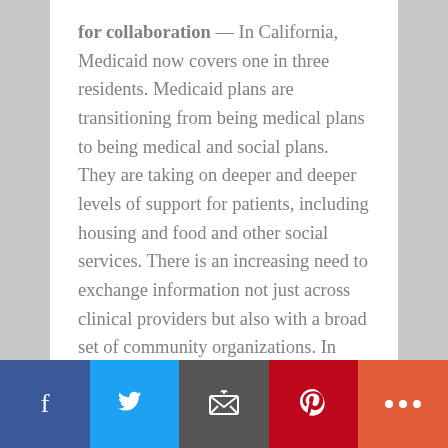for collaboration — In California, Medicaid now covers one in three residents. Medicaid plans are transitioning from being medical plans to being medical and social plans. They are taking on deeper and deeper levels of support for patients, including housing and food and other social services. There is an increasing need to exchange information not just across clinical providers but also with a broad set of community organizations. In order to partner effectively, they need a shared
Social share bar: Facebook, Twitter, Email, Pinterest, More